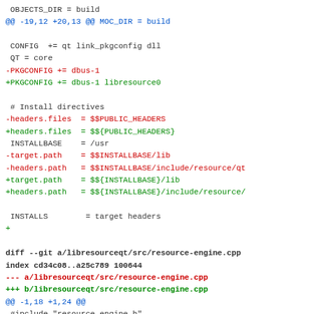Diff/patch code content showing changes to libresourceqt build files and resource-engine.cpp